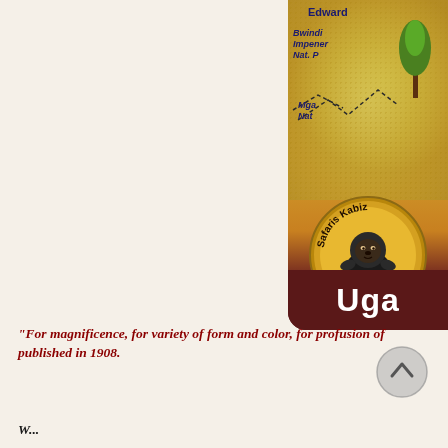[Figure (illustration): Partial view of a Uganda safari guidebook cover showing a map of Uganda with labels for Lake Edward, Bwindi Impenetrable Nat. Park, Mgahinga Nat. Park, a Kabiza Safaris logo with a gorilla, and 'Uga' text on a dark red banner at the bottom. A navigation arrow circle is visible.]
“For magnificence, for variety of form and color, for profusion of published in 1908.
W... “What visit Uganda?”